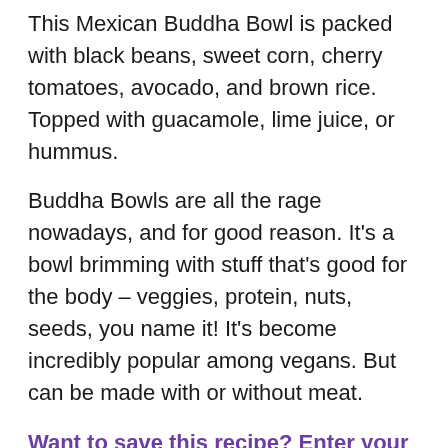This Mexican Buddha Bowl is packed with black beans, sweet corn, cherry tomatoes, avocado, and brown rice. Topped with guacamole, lime juice, or hummus.
Buddha Bowls are all the rage nowadays, and for good reason. It’s a bowl brimming with stuff that’s good for the body – veggies, protein, nuts, seeds, you name it! It’s become incredibly popular among vegans. But can be made with or without meat.
Want to save this recipe? Enter your